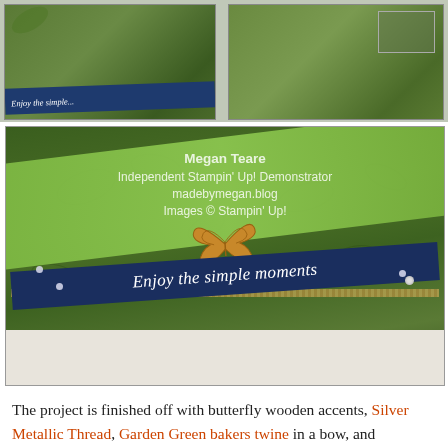[Figure (photo): Two small photos side by side showing handmade cards with green botanical patterned paper and navy blue banners. Left photo shows a banner reading 'Enjoy the simple...' and right photo shows similar card design.]
[Figure (photo): Close-up photo of a handmade card project featuring green botanical patterned paper, a wooden butterfly accent, a navy blue banner reading 'Enjoy the simple moments' in white italic script, twine, and sequin accents. Watermark overlay reads: Megan Teare / Independent Stampin' Up! Demonstrator / madebymegan.blog / Images © Stampin' Up!]
The project is finished off with butterfly wooden accents, Silver Metallic Thread, Garden Green bakers twine in a bow, and